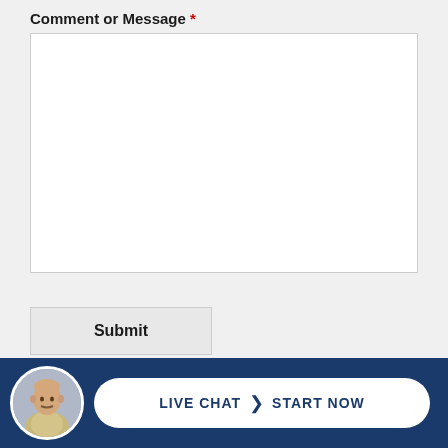Comment or Message *
[Figure (screenshot): Empty white textarea input box for comment or message]
Submit
[Figure (infographic): Dark blue footer bar with circular avatar photo of a man, and a white pill-shaped Live Chat > Start Now button, plus a partial reCAPTCHA box in top right]